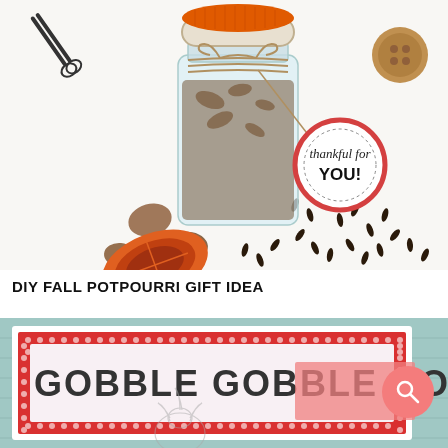[Figure (photo): Photo of a mason jar filled with dried potpourri ingredients (dried orange slices, cloves, cinnamon sticks, nutmeg) with an orange fabric lid tied with twine and a round tag reading 'thankful for YOU!' with a red border. Various spices and nuts scattered on white background. Scissors visible top left.]
DIY FALL POTPOURRI GIFT IDEA
[Figure (photo): Photo of a printable card on a light blue wooden surface. The card has a red and white polka dot border with text reading 'GOBBLE GOBBLE GOBBLE' in block letters. A pink/salmon colored rectangular overlay is visible in the lower right, partially covering text. A search icon button appears in the lower right corner.]